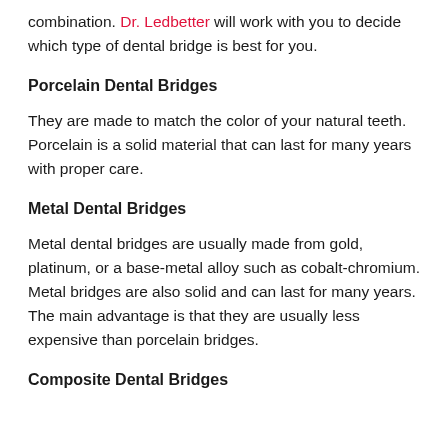combination. Dr. Ledbetter will work with you to decide which type of dental bridge is best for you.
Porcelain Dental Bridges
They are made to match the color of your natural teeth. Porcelain is a solid material that can last for many years with proper care.
Metal Dental Bridges
Metal dental bridges are usually made from gold, platinum, or a base-metal alloy such as cobalt-chromium. Metal bridges are also solid and can last for many years. The main advantage is that they are usually less expensive than porcelain bridges.
Composite Dental Bridges